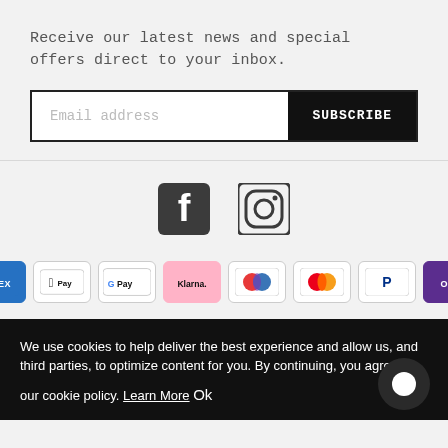Receive our latest news and special offers direct to your inbox.
Email address  SUBSCRIBE
[Figure (logo): Facebook and Instagram social media icons]
[Figure (infographic): Payment method badges: AMEX, Apple Pay, Google Pay, Klarna, Maestro, Mastercard, PayPal, OPay]
We use cookies to help deliver the best experience and allow us, and third parties, to optimize content for you. By continuing, you agree to our cookie policy. Learn More
Ok